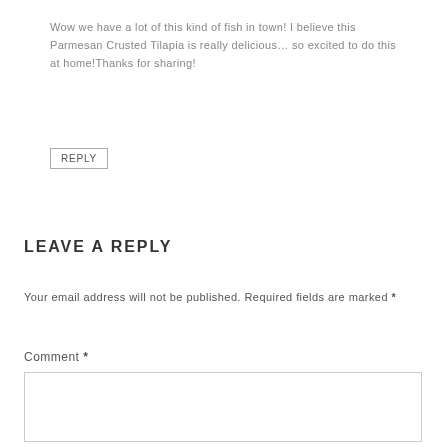Wow we have a lot of this kind of fish in town! I believe this Parmesan Crusted Tilapia is really delicious… so excited to do this at home!Thanks for sharing!
REPLY
LEAVE A REPLY
Your email address will not be published. Required fields are marked *
Comment *